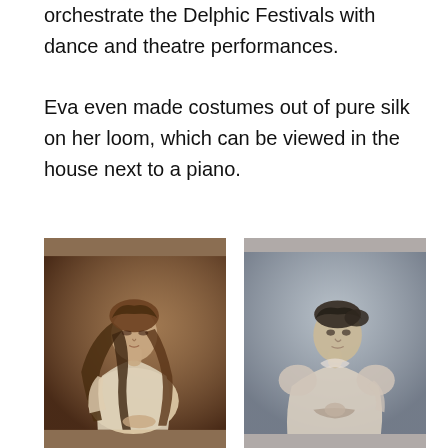orchestrate the Delphic Festivals with dance and theatre performances.
Eva even made costumes out of pure silk on her loom, which can be viewed in the house next to a piano.
[Figure (photo): Sepia-toned historical photograph of a young woman with long flowing hair, wearing a loose white dress, looking downward with a contemplative expression.]
[Figure (photo): Black and white historical photograph of a woman with dark hair pinned up, wearing a Victorian-style dress with puffed sleeves and a bow at the waist, looking downward to the side.]